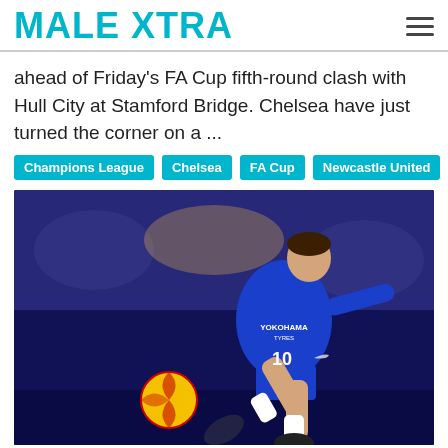MALE XTRA
ahead of Friday's FA Cup fifth-round clash with Hull City at Stamford Bridge. Chelsea have just turned the corner on a ...
Champions League | Chelsea | FA Cup | Newcastle United | weight | newcas...
[Figure (photo): Chelsea footballer in blue number 10 kit kicking a ball during a match, crowd blurred in background]